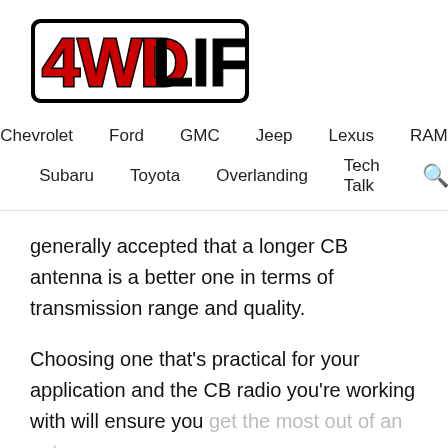[Figure (logo): 4WD LIFE logo with red '4WD' and black 'LIFE' text in bold stylized font with black outline border]
Chevrolet   Ford   GMC   Jeep   Lexus   RAM
Subaru   Toyota   Overlanding   Tech Talk
generally accepted that a longer CB antenna is a better one in terms of transmission range and quality.
Choosing one that’s practical for your application and the CB radio you’re working with will ensure you get the most out of an antenna.